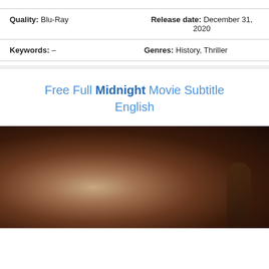| Quality: Blu-Ray | Release date: December 31, 2020 |
| Keywords: – | Genres: History, Thriller |
Free Full Midnight Movie Subtitle English
[Figure (photo): Movie still showing a woman with short dark hair in the foreground (close-up face), and a blurred figure in the background in a dark room setting.]